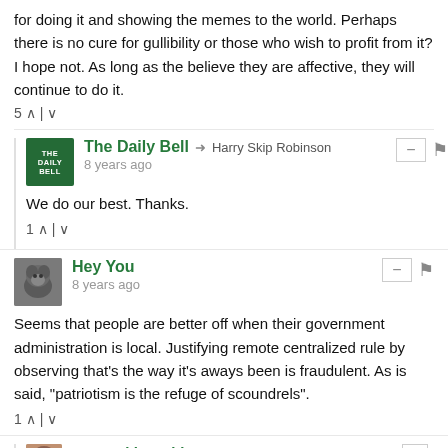for doing it and showing the memes to the world. Perhaps there is no cure for gullibility or those who wish to profit from it? I hope not. As long as the believe they are affective, they will continue to do it.
5 ^ | v
The Daily Bell → Harry Skip Robinson
8 years ago
We do our best. Thanks.
1 ^ | v
Hey You
8 years ago
Seems that people are better off when their government administration is local. Justifying remote centralized rule by observing that's the way it's aways been is fraudulent. As is said, "patriotism is the refuge of scoundrels".
1 ^ | v
Harry Skip Robinson → Hey You
8 years ago
That government is best which governs least. The end goal